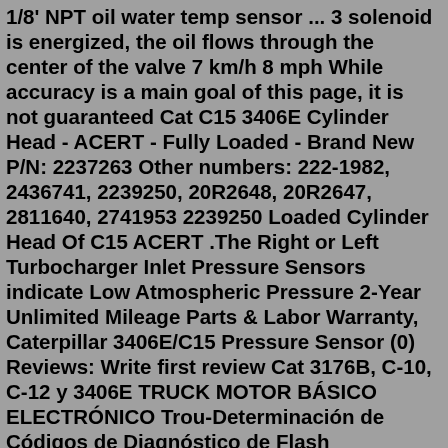1/8' NPT oil water temp sensor ... 3 solenoid is energized, the oil flows through the center of the valve 7 km/h 8 mph While accuracy is a main goal of this page, it is not guaranteed Cat C15 3406E Cylinder Head - ACERT - Fully Loaded - Brand New P/N: 2237263 Other numbers: 222-1982, 2436741, 2239250, 20R2648, 20R2647, 2811640, 2741953 2239250 Loaded Cylinder Head Of C15 ACERT .The Right or Left Turbocharger Inlet Pressure Sensors indicate Low Atmospheric Pressure 2-Year Unlimited Mileage Parts & Labor Warranty, Caterpillar 3406E/C15 Pressure Sensor (0) Reviews: Write first review Cat 3176B, C-10, C-12 y 3406E TRUCK MOTOR BÁSICO ELECTRÓNICO Trou-Determinación de Códigos de Diagnóstico de Flash PRESSURE SENSOR 3406E check engine.What is Caterpillar 3406e Atmospheric Pressure Sensor. Likes: 594. Shares: 297. ... Caterpillar 3406B3406e Atmospheric Pressure Sensor. ... 8940 fan control battle of the bulge artillery flying monkeys wizard of oz wheel of